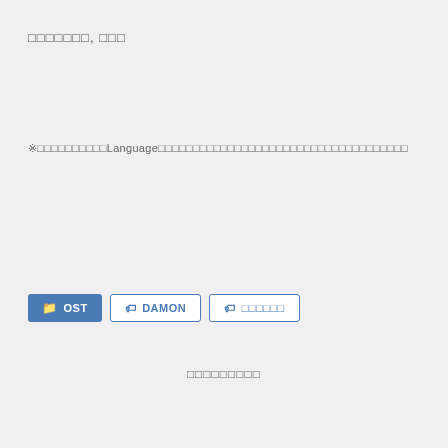□□□□□□□, □□□
※□□□□□□□□□□Language□□□□□□□□□□□□□□□□□□□□□□□□□□□□□□□□□□□□
📁 OST
🏷 DAMON
🏷 □□□□□□
□□□□□□□□□